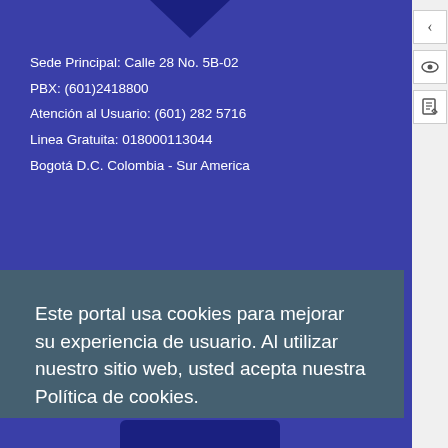[Figure (other): Blue background with downward-pointing chevron/arrow icon at top center]
Sede Principal: Calle 28 No. 5B-02
PBX: (601)2418800
Atención al Usuario: (601) 282 5716
Linea Gratuita: 018000113044
Bogotá D.C. Colombia - Sur America
Horario
[Figure (other): Clock icon outline in dark blue]
Este portal usa cookies para mejorar su experiencia de usuario. Al utilizar nuestro sitio web, usted acepta nuestra Política de cookies.
Estoy de acuerdo
[Figure (other): Sidebar with back arrow, eye icon, and document icon on white/gray background]